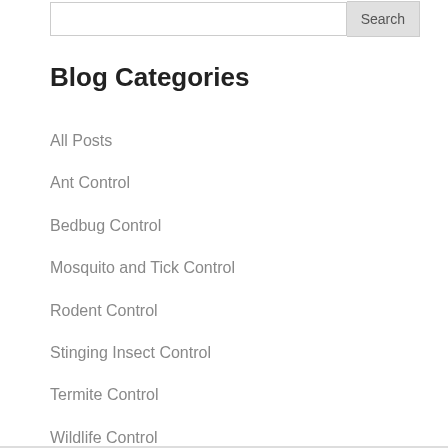Blog Categories
All Posts
Ant Control
Bedbug Control
Mosquito and Tick Control
Rodent Control
Stinging Insect Control
Termite Control
Wildlife Control